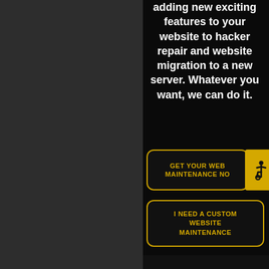adding new exciting features to your website to hacker repair and website migration to a new server. Whatever you want, we can do it.
GET YOUR WEB MAINTENANCE NO
[Figure (illustration): Accessibility icon - wheelchair symbol in yellow square]
I NEED A CUSTOM WEBSITE MAINTENANCE
[Figure (illustration): Partial yellow circle/ring at bottom of page]